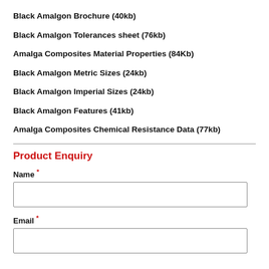Black Amalgon Brochure (40kb)
Black Amalgon Tolerances sheet (76kb)
Amalga Composites Material Properties (84Kb)
Black Amalgon Metric Sizes (24kb)
Black Amalgon Imperial Sizes (24kb)
Black Amalgon Features (41kb)
Amalga Composites Chemical Resistance Data (77kb)
Product Enquiry
Name *
Email *